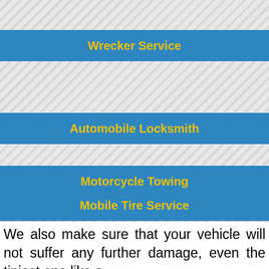Wrecker Service
Automobile Locksmith
Motorcycle Towing
Mobile Tire Service
We also make sure that your vehicle will not suffer any further damage, even the tiniest one like a